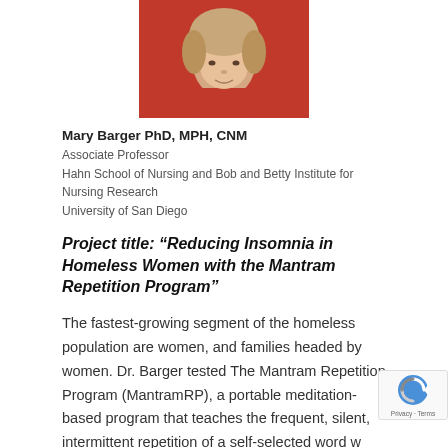[Figure (photo): Headshot photograph of Mary Barger, a woman wearing a red top, cropped at the top of the page]
Mary Barger PhD, MPH, CNM
Associate Professor
Hahn School of Nursing and Bob and Betty Institute for Nursing Research
University of San Diego
Project title: “Reducing Insomnia in Homeless Women with the Mantram Repetition Program”
The fastest-growing segment of the homeless population are women, and families headed by women. Dr. Barger tested The Mantram Repetition Program (MantramRP), a portable meditation-based program that teaches the frequent, silent, intermittent repetition of a self-selected word w... help reduce insomnia in homeless women.